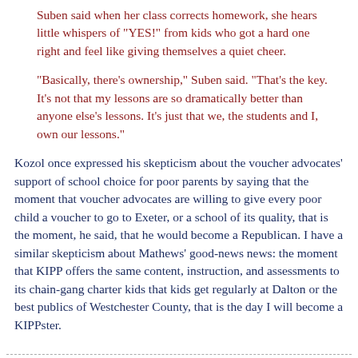Suben said when her class corrects homework, she hears little whispers of "YES!" from kids who got a hard one right and feel like giving themselves a quiet cheer.
"Basically, there's ownership," Suben said. "That's the key. It's not that my lessons are so dramatically better than anyone else's lessons. It's just that we, the students and I, own our lessons."
Kozol once expressed his skepticism about the voucher advocates' support of school choice for poor parents by saying that the moment that voucher advocates are willing to give every poor child a voucher to go to Exeter, or a school of its quality, that is the moment, he said, that he would become a Republican. I have a similar skepticism about Mathews' good-news news: the moment that KIPP offers the same content, instruction, and assessments to its chain-gang charter kids that kids get regularly at Dalton or the best publics of Westchester County, that is the day I will become a KIPPster.